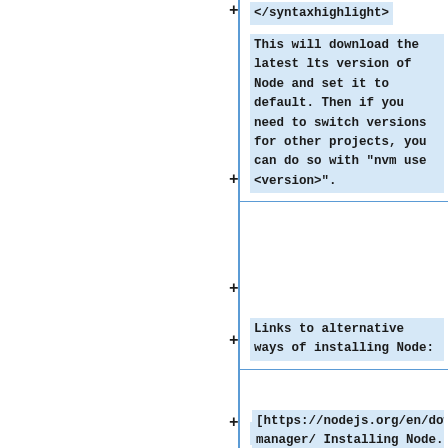</syntaxhighlight>
This will download the latest lts version of Node and set it to default. Then if you need to switch versions for other projects, you can do so with "nvm use <version>".
Links to alternative ways of installing Node:
* [https://nodejs.org/en/download/package-manager/ Installing Node.js via package